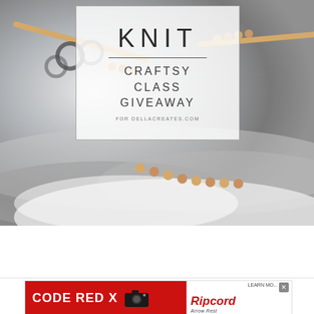[Figure (photo): A knitting-themed promotional image showing close-up of knitting needles and yarn in grey/white tones, with an overlaid semi-transparent white box containing the text 'KNIT', a divider line, and 'CRAFTSY CLASS GIVEAWAY' with URL 'FOR DELLACREATES.COM']
[Figure (photo): Advertisement banner with red background showing 'CODE RED X' text with camera icon on left, and 'Ripcord Arrow Rest' logo/text on white background on right, with a learn more button and close button]